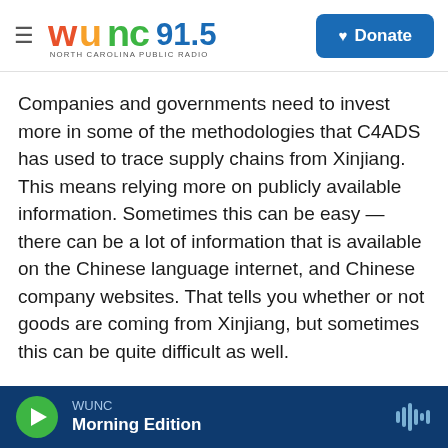WUNC 91.5 North Carolina Public Radio | Donate
Companies and governments need to invest more in some of the methodologies that C4ADS has used to trace supply chains from Xinjiang. This means relying more on publicly available information. Sometimes this can be easy — there can be a lot of information that is available on the Chinese language internet, and Chinese company websites. That tells you whether or not goods are coming from Xinjiang, but sometimes this can be quite difficult as well.
Copyright 2022 NPR. To see more, visit https://www.npr.org
WUNC | Morning Edition